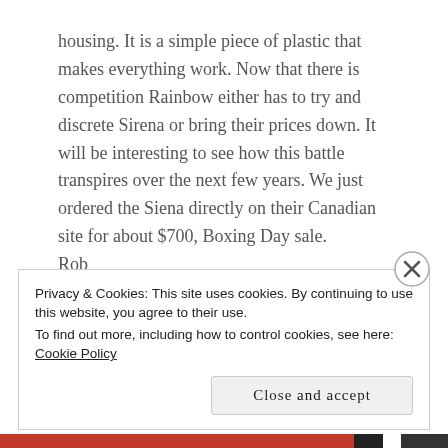housing. It is a simple piece of plastic that makes everything work. Now that there is competition Rainbow either has to try and discrete Sirena or bring their prices down. It will be interesting to see how this battle transpires over the next few years. We just ordered the Siena directly on their Canadian site for about $700, Boxing Day sale.
Rob
★ Like
Reply
Privacy & Cookies: This site uses cookies. By continuing to use this website, you agree to their use.
To find out more, including how to control cookies, see here: Cookie Policy
Close and accept